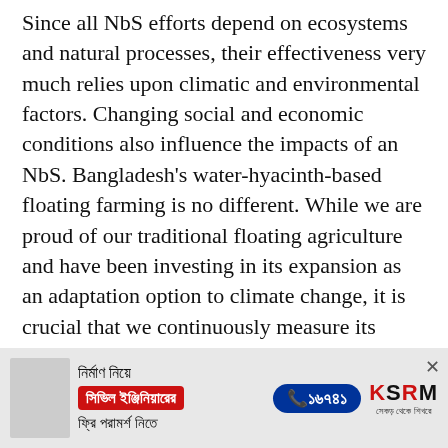Since all NbS efforts depend on ecosystems and natural processes, their effectiveness very much relies upon climatic and environmental factors. Changing social and economic conditions also influence the impacts of an NbS. Bangladesh's water-hyacinth-based floating farming is no different. While we are proud of our traditional floating agriculture and have been investing in its expansion as an adaptation option to climate change, it is crucial that we continuously measure its effectiveness under the changing climate and different social contexts. Otherwise, instead of being a solution, an NbS could become a burden.
[Figure (other): Advertisement banner for KSRM civil engineering consultation service with Bengali text, phone number 16741, and KSRM logo]